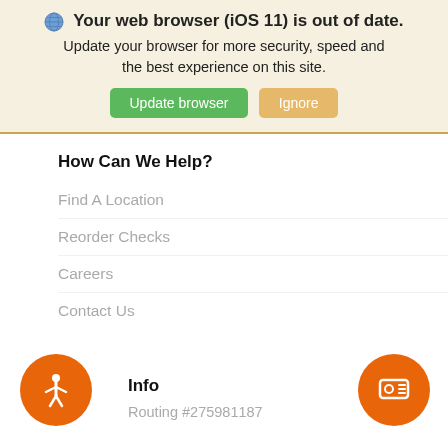Your web browser (iOS 11) is out of date.
Update your browser for more security, speed and the best experience on this site.
How Can We Help?
Find A Location
Reorder Checks
Careers
Contact Us
Info
Routing #275981187